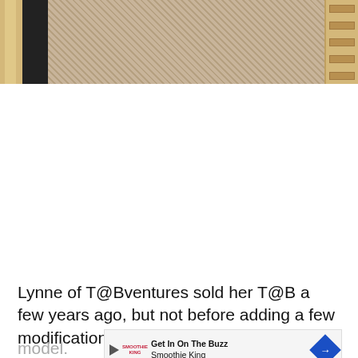[Figure (photo): Interior photo showing a textured woven carpet/rug floor with wooden frame panels on the left side and a black panel, with a wicker/rattan pattern visible on the right edge.]
Lynne of T@Bventures sold her T@B a few years ago, but not before adding a few modifications to her T16Q model. trailer while she had a
[Figure (other): Advertisement banner for Smoothie King: 'Get In On The Buzz Smoothie King' with play button icon, Smoothie King logo, and blue navigation arrow icon.]